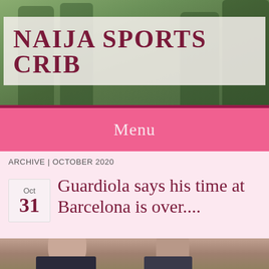[Figure (photo): Sports blog header banner with green-clad football players in the background]
NAIJA SPORTS CRIB
Menu
ARCHIVE | OCTOBER 2020
Guardiola says his time at Barcelona is over....
[Figure (photo): Photo of Pep Guardiola and another person on a football pitch, Guardiola is bald and wearing dark clothing]